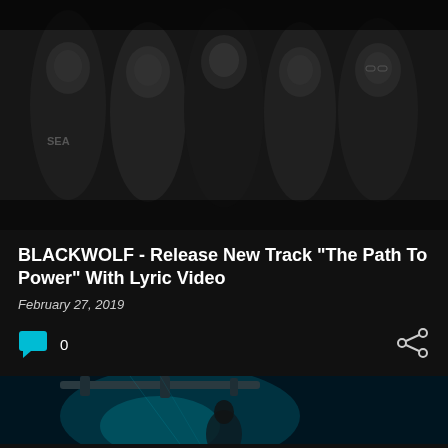[Figure (photo): Black and white photo of five band members standing together, dark background. Members wearing hoodies, jackets, and band t-shirts.]
BLACKWOLF - Release New Track "The Path To Power" With Lyric Video
February 27, 2019
[Figure (infographic): Meta bar with teal comment icon bubble showing count 0, and a share icon on the right]
[Figure (photo): Bottom partial image showing a person in a dark studio/stage setting with teal blue lighting and industrial pipes/equipment above]